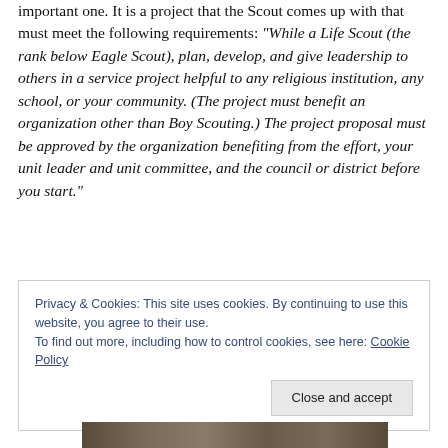important one. It is a project that the Scout comes up with that must meet the following requirements: “While a Life Scout (the rank below Eagle Scout), plan, develop, and give leadership to others in a service project helpful to any religious institution, any school, or your community. (The project must benefit an organization other than Boy Scouting.) The project proposal must be approved by the organization benefiting from the effort, your unit leader and unit committee, and the council or district before you start.”
Privacy & Cookies: This site uses cookies. By continuing to use this website, you agree to their use. To find out more, including how to control cookies, see here: Cookie Policy